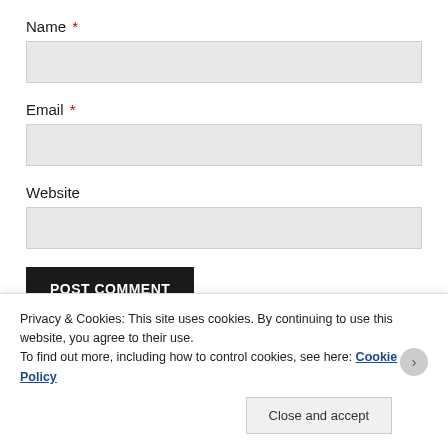Name *
Email *
Website
POST COMMENT
Privacy & Cookies: This site uses cookies. By continuing to use this website, you agree to their use. To find out more, including how to control cookies, see here: Cookie Policy
Close and accept